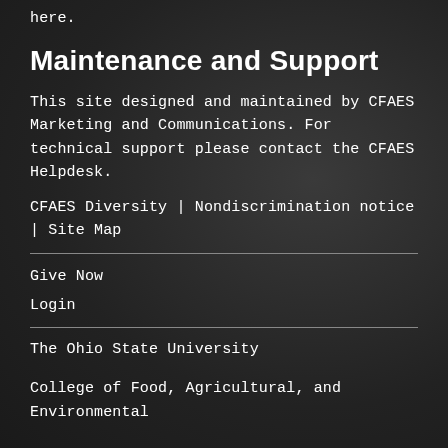here.
Maintenance and Support
This site designed and maintained by CFAES Marketing and Communications. For technical support please contact the CFAES Helpdesk.
CFAES Diversity | Nondiscrimination notice | Site Map
Give Now
Login
The Ohio State University
College of Food, Agricultural, and Environmental